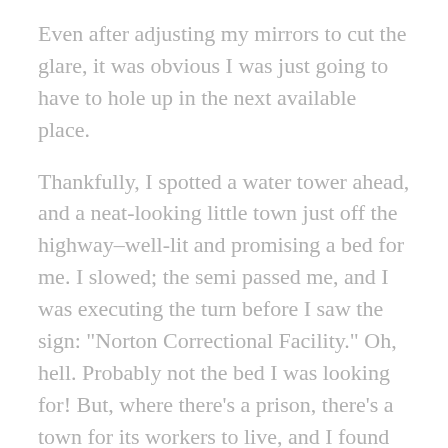Even after adjusting my mirrors to cut the glare, it was obvious I was just going to have to hole up in the next available place.
Thankfully, I spotted a water tower ahead, and a neat-looking little town just off the highway–well-lit and promising a bed for me. I slowed; the semi passed me, and I was executing the turn before I saw the sign: "Norton Correctional Facility." Oh, hell. Probably not the bed I was looking for! But, where there's a prison, there's a town for its workers to live, and I found that and my rest just a couple more miles down the road.
High wind warnings for the next day drove me out early and without breakfast–just a couple cups of mediocre motel coffee and the belief that I'd find